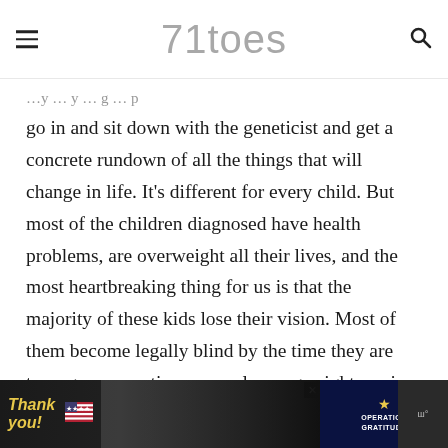71toes
go in and sit down with the geneticist and get a concrete rundown of all the things that will change in life. It’s different for every child. But most of the children diagnosed have health problems, are overweight all their lives, and the most heartbreaking thing for us is that the majority of these kids lose their vision. Most of them become legally blind by the time they are teenagers, sometimes as early as age eight or nine.
[Figure (photo): Advertisement banner at the bottom of the page showing a 'Thank you' message with Operation Gratitude branding, featuring firefighters/military personnel in the background.]